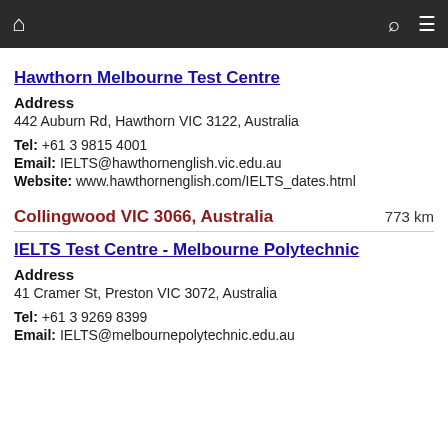Navigation bar with home, search, and menu icons
Hawthorn Melbourne Test Centre
Address
442 Auburn Rd, Hawthorn VIC 3122, Australia
Tel: +61 3 9815 4001
Email: IELTS@hawthornenglish.vic.edu.au
Website: www.hawthornenglish.com/IELTS_dates.html
Collingwood VIC 3066, Australia  773 km
IELTS Test Centre - Melbourne Polytechnic
Address
41 Cramer St, Preston VIC 3072, Australia
Tel: +61 3 9269 8399
Email: IELTS@melbournepolytechnic.edu.au